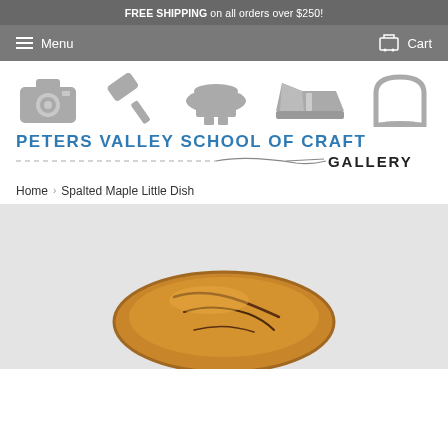FREE SHIPPING on all orders over $250!
Menu   Cart
[Figure (logo): Peters Valley School of Craft Gallery logo with craft tool icons (camera, hammer, anvil, hand plane, pottery) and text 'PETERS VALLEY SCHOOL OF CRAFT GALLERY' with dashed line and needle graphic]
Home › Spalted Maple Little Dish
[Figure (photo): Photo of a small oval wooden dish made from spalted maple with dark grain markings, warm honey/amber color, viewed from slightly above]